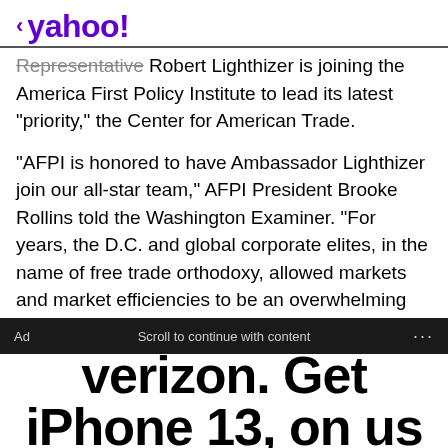< yahoo!
Representative Robert Lighthizer is joining the America First Policy Institute to lead its latest "priority," the Center for American Trade.
"AFPI is honored to have Ambassador Lighthizer join our all-star team," AFPI President Brooke Rollins told the Washington Examiner. "For years, the D.C. and global corporate elites, in the name of free trade orthodoxy, allowed markets and market efficiencies to be an overwhelming influence on policy decisions, but Ambassador Lighthizer, alongside President Trump, changed that trajectory and reengineered our Nation's trade policy to finally put America first."
Ad   Scroll to continue with content   ...
[Figure (screenshot): Verizon advertisement showing 'verizon. Get iPhone 13, on us']